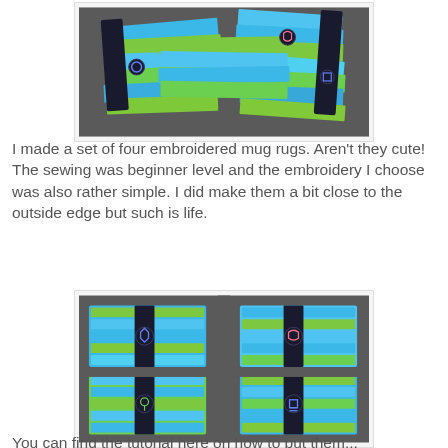[Figure (photo): Photo of four embroidered mug rugs scattered on a grey surface, showing colorful fabric strips in blue and green patterns with dark embroidered accents]
I made a set of four embroidered mug rugs. Aren't they cute! The sewing was beginner level and the embroidery I choose was also rather simple. I did make them a bit close to the outside edge but such is life.
[Figure (photo): Photo of four embroidered mug rugs laid flat on a grey surface in a 2x2 arrangement, showing colorful fabric strips in blue and green patterns with dark border strips and embroidered flower/shield designs]
You can find the tutorial here on how to put them...